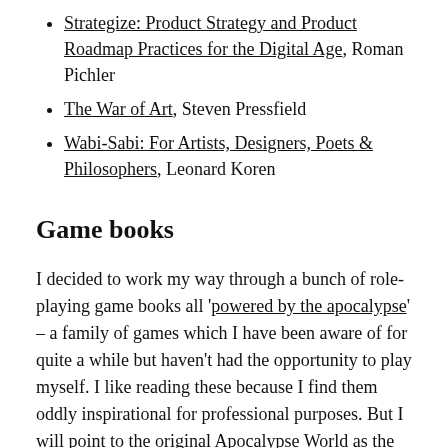Strategize: Product Strategy and Product Roadmap Practices for the Digital Age, Roman Pichler
The War of Art, Steven Pressfield
Wabi-Sabi: For Artists, Designers, Poets & Philosophers, Leonard Koren
Game books
I decided to work my way through a bunch of role-playing game books all 'powered by the apocalypse' – a family of games which I have been aware of for quite a while but haven't had the opportunity to play myself. I like reading these because I find them oddly inspirational for professional purposes. But I will point to the original Apocalypse World as the one must-read as Baker remains one of the designers I am absolutely in awe of for the ways in which he manages to combine system and fiction in truly